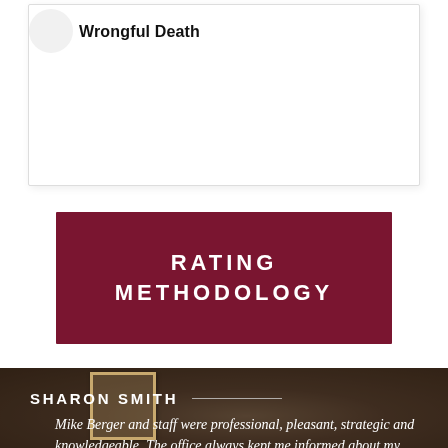Wrongful Death
RATING
METHODOLOGY
SHARON SMITH
Mike Berger and staff were professional, pleasant, strategic and knowledgeable. The office always kept me informed about my